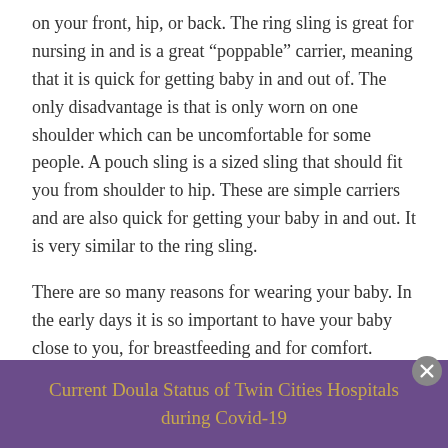on your front, hip, or back. The ring sling is great for nursing in and is a great “poppable” carrier, meaning that it is quick for getting baby in and out of. The only disadvantage is that is only worn on one shoulder which can be uncomfortable for some people. A pouch sling is a sized sling that should fit you from shoulder to hip. These are simple carriers and are also quick for getting your baby in and out. It is very similar to the ring sling.
There are so many reasons for wearing your baby. In the early days it is so important to have your baby close to you, for breastfeeding and for comfort. Choosing a carrier can seem overwhelming because there are so many options but you really can’t go wrong with any of them. There are a
Current Doula Status of Twin Cities Hospitals during Covid-19